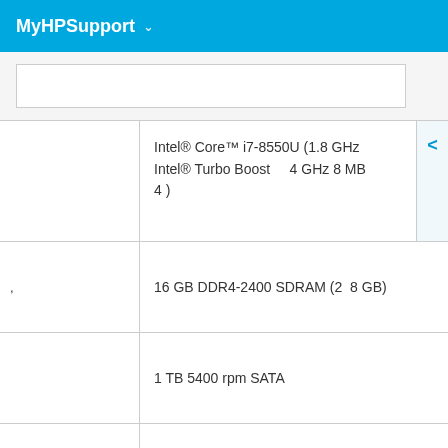MyHPSupport
| Category | Specification |
| --- | --- |
|  | Intel® Core™ i7-8550U (1.8 GHz Intel® Turbo Boost   4 GHz 8 MB 4 ) |
| , | 16 GB DDR4-2400 SDRAM (2  8 GB) |
|  | 1 TB 5400 rpm SATA |
|  | 15.6 ( ) FHD IPS BrightView  WLED |